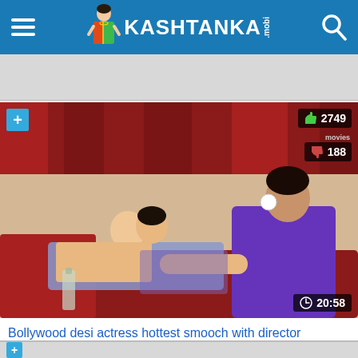KASHTANKA.mobi
[Figure (screenshot): Video thumbnail showing two people on a red couch, with like count 2749, dislike count 188, and duration 20:58]
Bollywood desi actress hottest smooch with director